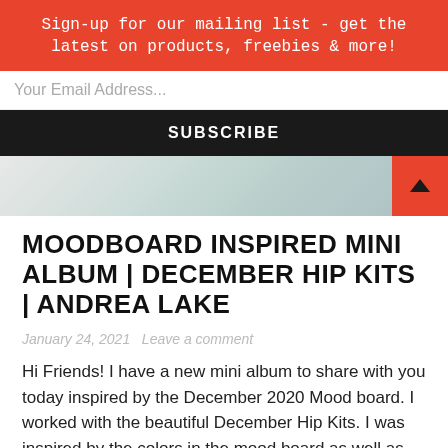Sign-up for our mailing list - get the latest on products, freebies & more!
Your Email Address...
SUBSCRIBE
[Figure (photo): Partial image strip showing decorative paper/scrapbooking materials in muted tones]
MOODBOARD INSPIRED MINI ALBUM | DECEMBER HIP KITS | ANDREA LAKE
January 24, 2021   Leave a comment
Hi Friends! I have a new mini album to share with you today inspired by the December 2020 Mood board. I worked with the beautiful December Hip Kits. I was inspired by the colors in the mood board as well as the idea of including multiple photos from this winter season.  I started by … Continue reading